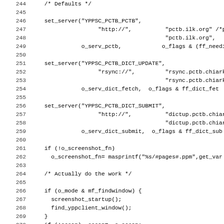[Figure (screenshot): Source code listing lines 244-275 in monospace font showing C code with set_server calls, if statements for screenshot_fn, o_mode, ocean, pirate, and o_flags checks. Line numbers shown on left margin.]